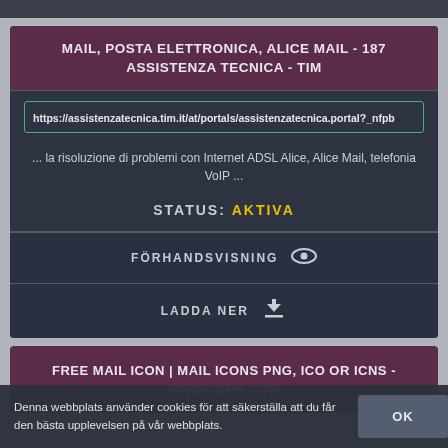MAIL, POSTA ELETTRONICA, ALICE MAIL - 187 ASSISTENZA TECNICA - TIM
https://assistenzatecnica.tim.it/at/portals/assistenzatecnica.portal?_nfpb
... la risoluzione di problemi con Internet ADSL Alice, Alice Mail, telefonia VoIP ...
STATUS: AKTIVA
FÖRHANDSVISNING
LADDA NER
FREE MAIL ICON | MAIL ICONS PNG, ICO OR ICNS - FINDICONS.COM
Denna webbplats använder cookies för att säkerställa att du får den bästa upplevelsen på vår webbplats.